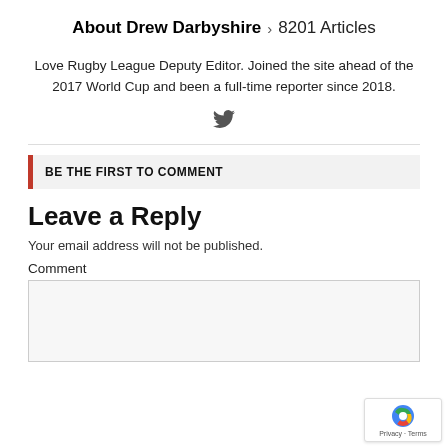About Drew Darbyshire > 8201 Articles
Love Rugby League Deputy Editor. Joined the site ahead of the 2017 World Cup and been a full-time reporter since 2018.
[Figure (illustration): Twitter bird icon]
BE THE FIRST TO COMMENT
Leave a Reply
Your email address will not be published.
Comment
[Figure (other): reCAPTCHA badge with Privacy and Terms links]